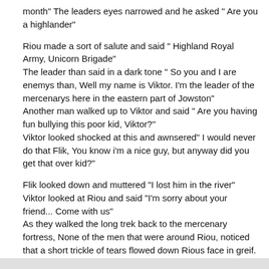month" The leaders eyes narrowed and he asked " Are you a highlander"
Riou made a sort of salute and said " Highland Royal Army, Unicorn Brigade"
The leader than said in a dark tone " So you and I are enemys than, Well my name is Viktor. I'm the leader of the mercenarys here in the eastern part of Jowston"
Another man walked up to Viktor and said " Are you having fun bullying this poor kid, Viktor?"
Viktor looked shocked at this and awnsered" I would never do that Flik, You know i'm a nice guy, but anyway did you get that over kid?"
Flik looked down and muttered "I lost him in the river"
Viktor looked at Riou and said "I'm sorry about your friend... Come with us"
As they walked the long trek back to the mercenary fortress, None of the men that were around Riou, noticed that a short trickle of tears flowed down Rious face in greif.